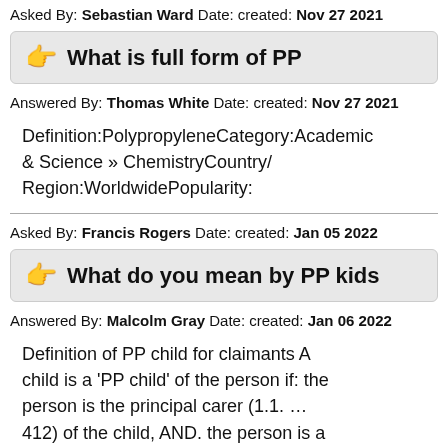Asked By: Sebastian Ward Date: created: Nov 27 2021
What is full form of PP
Answered By: Thomas White Date: created: Nov 27 2021
Definition:PolypropyleneCategory:Academic & Science » ChemistryCountry/Region:WorldwidePopularity:
Asked By: Francis Rogers Date: created: Jan 05 2022
What do you mean by PP kids
Answered By: Malcolm Gray Date: created: Jan 06 2022
Definition of PP child for claimants A child is a ‘PP child’ of the person if: the person is the principal carer (1.1. … 412) of the child, AND. the person is a member of a couple, AND.